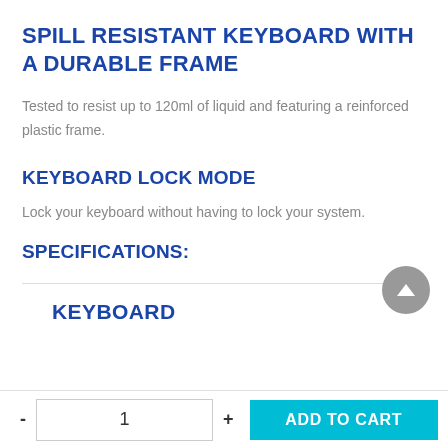SPILL RESISTANT KEYBOARD WITH A DURABLE FRAME
Tested to resist up to 120ml of liquid and featuring a reinforced plastic frame.
KEYBOARD LOCK MODE
Lock your keyboard without having to lock your system.
SPECIFICATIONS:
KEYBOARD